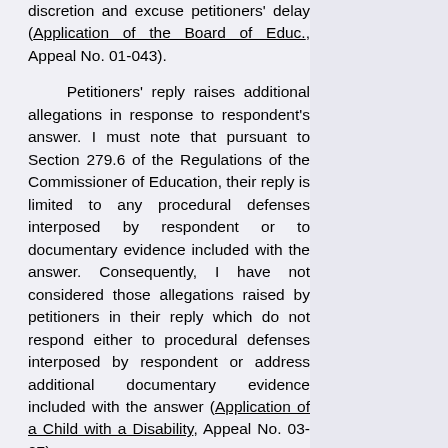discretion and excuse petitioners' delay (Application of the Board of Educ., Appeal No. 01-043).
Petitioners' reply raises additional allegations in response to respondent's answer. I must note that pursuant to Section 279.6 of the Regulations of the Commissioner of Education, their reply is limited to any procedural defenses interposed by respondent or to documentary evidence included with the answer. Consequently, I have not considered those allegations raised by petitioners in their reply which do not respond either to procedural defenses interposed by respondent or address additional documentary evidence included with the answer (Application of a Child with a Disability, Appeal No. 03-07).